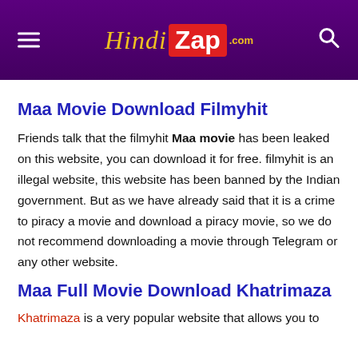HindiZap.com
Maa Movie Download Filmyhit
Friends talk that the filmyhit Maa movie has been leaked on this website, you can download it for free. filmyhit is an illegal website, this website has been banned by the Indian government. But as we have already said that it is a crime to piracy a movie and download a piracy movie, so we do not recommend downloading a movie through Telegram or any other website.
Maa Full Movie Download Khatrimaza
Khatrimaza is a very popular website that allows you to download Hollywood, Bollywood, South Indian movies.